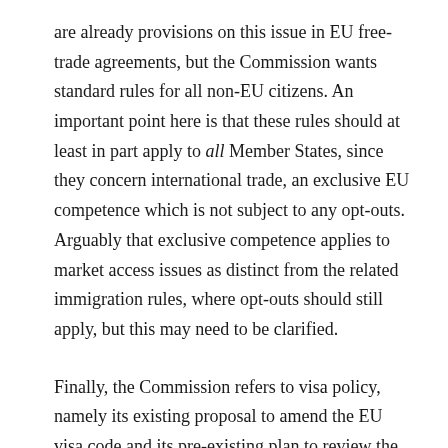are already provisions on this issue in EU free-trade agreements, but the Commission wants standard rules for all non-EU citizens. An important point here is that these rules should at least in part apply to all Member States, since they concern international trade, an exclusive EU competence which is not subject to any opt-outs. Arguably that exclusive competence applies to market access issues as distinct from the related immigration rules, where opt-outs should still apply, but this may need to be clarified.
Finally, the Commission refers to visa policy, namely its existing proposal to amend the EU visa code and its pre-existing plan to review the list of countries whose nationals require a visa. It also suggests giving a modest amount of extra cash to third countries as regards migration management.